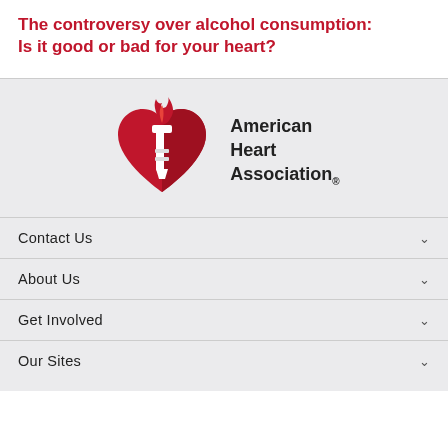The controversy over alcohol consumption: Is it good or bad for your heart?
[Figure (logo): American Heart Association logo — red heart with torch flame above, white torch body, with text 'American Heart Association®' to the right]
Contact Us
About Us
Get Involved
Our Sites